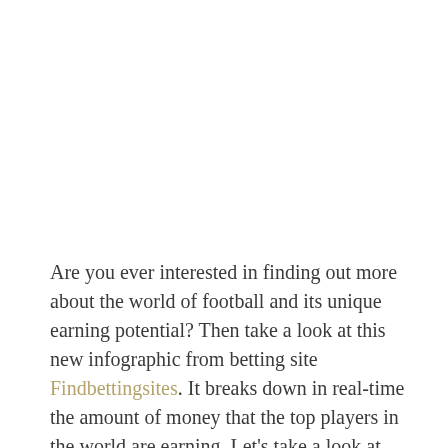Are you ever interested in finding out more about the world of football and its unique earning potential? Then take a look at this new infographic from betting site Findbettingsites. It breaks down in real-time the amount of money that the top players in the world are earning. Let's take a look at what some of them are bringing in at this moment in time.